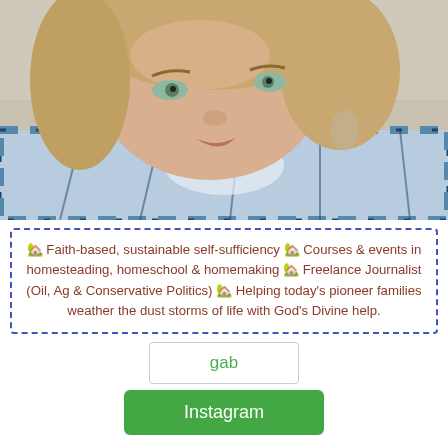[Figure (photo): Close-up selfie of a woman with curly light-brown hair and green eyes, wearing a blue plaid shirt and feather earrings, taken indoors.]
🏡 Faith-based, sustainable self-sufficiency 🏡 Courses & events in homesteading, homeschool & homemaking 🏡 Freelance Journalist (Oil, Ag & Conservative Politics) 🏡 Helping today's pioneer families weather the dust storms of life with God's Divine help.
gab
Instagram